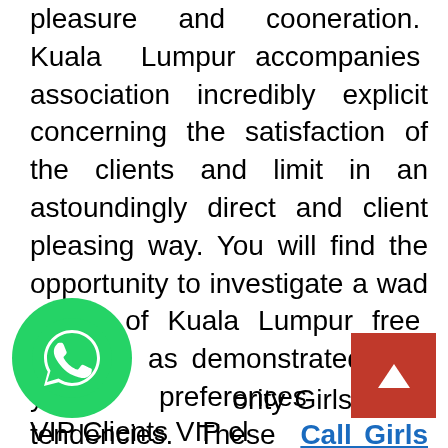pleasure and cooneration. Kuala Lumpur accompanies association incredibly explicit concerning the satisfaction of the clients and limit in an astoundingly direct and client pleasing way. You will find the opportunity to investigate a wad extent of Kuala Lumpur free escorts as demonstrated by your preferences and tendencies. These Call Girls in Malaysia are available in a wide worth go with the objective that you may pick as demonstrated by your comfort. If you have an eye for Kuala Lumpur raving ponders do benefit of the courses of action of the excellent Kuala Lumpur call young woman to remember the very pined for lively touch for life.
Celebrity Girls – For VIP Clients VIP clients